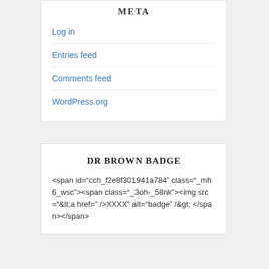META
Log in
Entries feed
Comments feed
WordPress.org
DR BROWN BADGE
<span id="cch_f2e8f301941a784" class="_mh6_wsc"><span class="_3oh-_58nk"><img src="&lt;a href=" />XXXX" alt="badge" /&gt;</span></span>